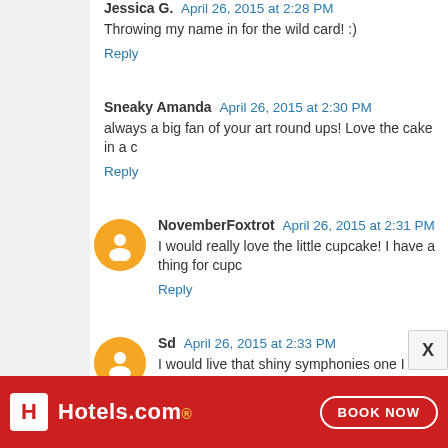Jessica G. April 26, 2015 at 2:28 PM
Throwing my name in for the wild card! :)
Reply
Sneaky Amanda April 26, 2015 at 2:30 PM
always a big fan of your art round ups! Love the cake in a c
Reply
NovemberFoxtrot April 26, 2015 at 2:31 PM
I would really love the little cupcake! I have a thing for cupc
Reply
Sd April 26, 2015 at 2:33 PM
I would live that shiny symphonies one I love that you introd
Reply
Lynn April 26, 2015 at 2:33 PM
[Figure (infographic): Hotels.com advertisement banner with red background, Hotels.com logo, and BOOK NOW button]